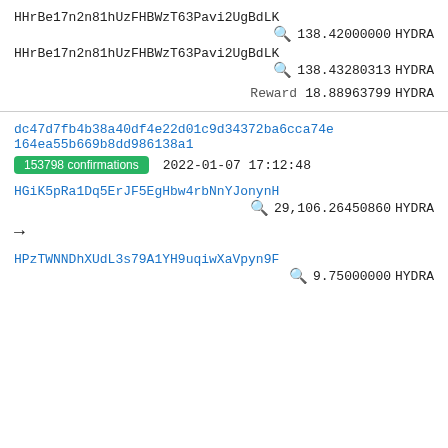HHrBe17n2n81hUzFHBWzT63Pavi2UgBdLK
🔍 138.42000000 HYDRA
HHrBe17n2n81hUzFHBWzT63Pavi2UgBdLK
🔍 138.43280313 HYDRA
Reward 18.88963799 HYDRA
dc47d7fb4b38a40df4e22d01c9d34372ba6cca74e164ea55b669b8dd986138a1
153798 confirmations   2022-01-07 17:12:48
HGiK5pRa1Dq5ErJF5EgHbw4rbNnYJonynH
🔍 29,106.26450860 HYDRA
→
HPzTWNNDhXUdL3s79A1YH9uqiwXaVpyn9F
🔍 9.75000000 HYDRA